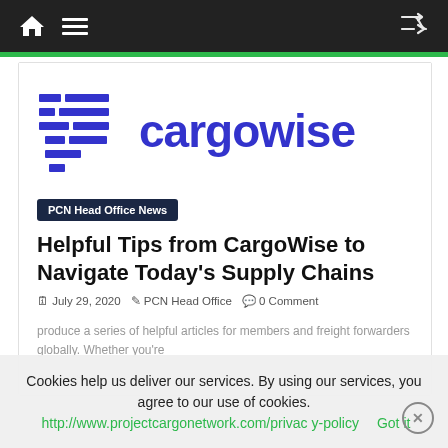Navigation bar with home, menu, and shuffle icons
[Figure (logo): CargoWise logo with blue list/lines icon and blue 'cargowise' wordmark]
PCN Head Office News
Helpful Tips from CargoWise to Navigate Today's Supply Chains
July 29, 2020  PCN Head Office  0 Comment
produce a series of helpful articles for members and freight forwarders globally. Whether you're
Share this:
Cookies help us deliver our services. By using our services, you agree to our use of cookies.  http://www.projectcargonetwork.com/privacy-policy  Got it